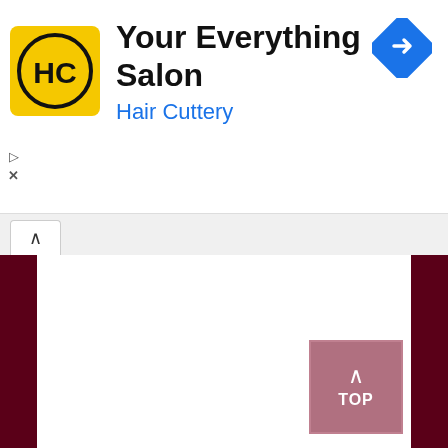[Figure (screenshot): Advertisement banner for Hair Cuttery salon. Shows the HC logo (yellow circle with HC in black), title 'Your Everything Salon', subtitle 'Hair Cuttery' in blue, a blue navigation/directions diamond icon on the right, and small play/close controls on the left.]
Your Everything Salon
Hair Cuttery
[Figure (screenshot): Browser tab bar with one open tab (chevron up icon), white content area, dark maroon/crimson side panels, and a 'TOP' back-to-top button in the bottom right.]